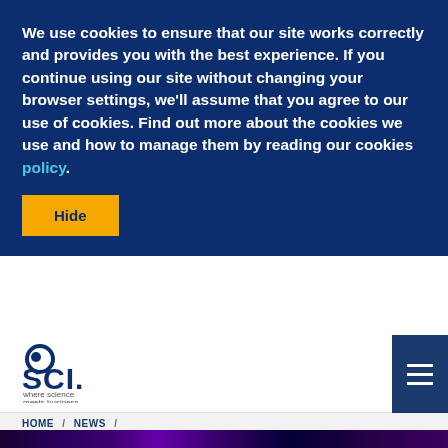We use cookies to ensure that our site works correctly and provides you with the best experience. If you continue using our site without changing your browser settings, we'll assume that you agree to our use of cookies. Find out more about the cookies we use and how to manage them by reading our cookies policy.
Hide
[Figure (logo): SCI logo — circle icon with 'SCI.' text and tagline 'where science meets business']
HOME / NEWS / SCI FIRE AND MATERIALS GROUP: YOUNG RESEARCHERS' FORUM